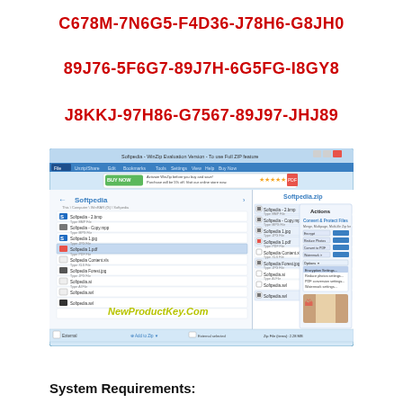C678M-7N6G5-F4D36-J78H6-G8JH0
89J76-5F6G7-89J7H-6G5FG-I8GY8
J8KKJ-97H86-G7567-89J97-JHJ89
[Figure (screenshot): WinZip application screenshot showing file manager with Softpedia files listed, Actions panel on right with Convert & Protect Files options, and a watermark 'NewProductKey.Com' in green at the bottom center.]
System Requirements: